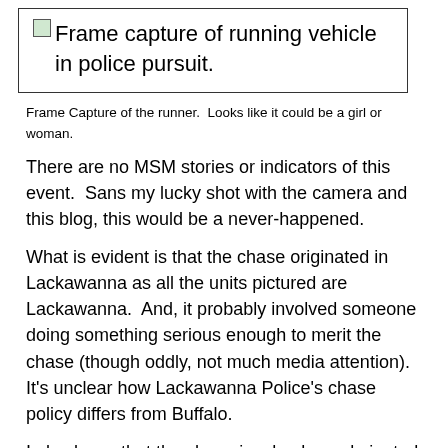[Figure (photo): Frame capture of running vehicle in police pursuit. Shown as broken image placeholder with alt text.]
Frame Capture of the runner.  Looks like it could be a girl or woman.
There are no MSM stories or indicators of this event.  Sans my lucky shot with the camera and this blog, this would be a never-happened.
What is evident is that the chase originated in Lackawanna as all the units pictured are Lackawanna.  And, it probably involved someone doing something serious enough to merit the chase (though oddly, not much media attention).  It's unclear how Lackawanna Police's chase policy differs from Buffalo.
I also know that the chase involved or culminated in a crash involving at least one of the Lackawanna police units, and I don't want the conversation to...